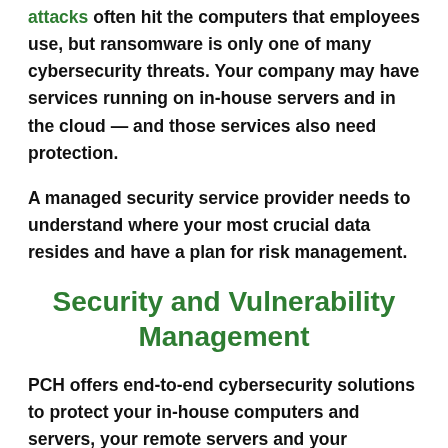attacks often hit the computers that employees use, but ransomware is only one of many cybersecurity threats. Your company may have services running on in-house servers and in the cloud — and those services also need protection.
A managed security service provider needs to understand where your most crucial data resides and have a plan for risk management.
Security and Vulnerability Management
PCH offers end-to-end cybersecurity solutions to protect your in-house computers and servers, your remote servers and your information pipeline. We know which computers